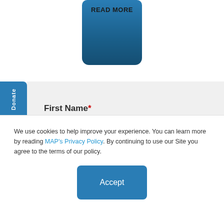[Figure (screenshot): Blue READ MORE button with dark gradient, partially cropped at top of page]
[Figure (screenshot): Blue vertical Donate sidebar button with heart icon]
First Name*
Last Name
We use cookies to help improve your experience. You can learn more by reading MAP's Privacy Policy. By continuing to use our Site you agree to the terms of our policy.
Accept